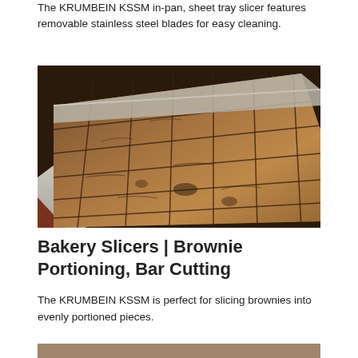The KRUMBEIN KSSM in-pan, sheet tray slicer features removable stainless steel blades for easy cleaning.
[Figure (photo): Close-up photograph of a sheet tray of brownies that have been sliced into a uniform grid of portions using the KRUMBEIN KSSM slicer, showing the cut lines through the baked brownie surface.]
Bakery Slicers | Brownie Portioning, Bar Cutting
The KRUMBEIN KSSM is perfect for slicing brownies into evenly portioned pieces.
[Figure (photo): Partial view of another product photo at the bottom of the page, cut off.]